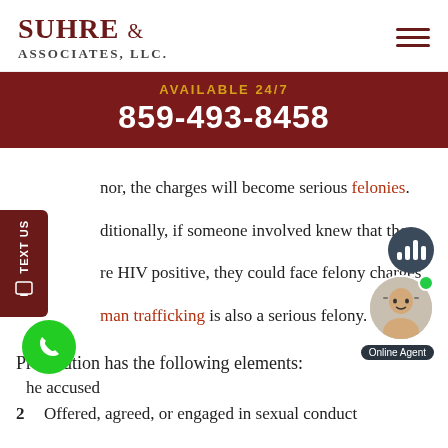SUHRE & ASSOCIATES, LLC
AVAILABLE 24/7
859-493-8458
nor, the charges will become serious felonies. Additionally, if someone involved knew that they are HIV positive, they could face felony charges. Human trafficking is also a serious felony.
Prostitution has the following elements:
he accused
2    Offered, agreed, or engaged in sexual conduct